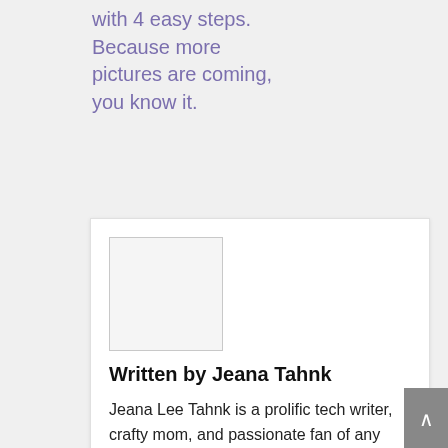with 4 easy steps. Because more pictures are coming, you know it.
[Figure (photo): Author avatar placeholder — empty grey-bordered rectangle]
Written by Jeana Tahnk
Jeana Lee Tahnk is a prolific tech writer, crafty mom, and passionate fan of any products that make it easier to raise three children. She's been immersed in the high-tech world for about 15 years, or since Mark Zuckerberg was in the 7th grade.
Bio    Share This    ✕